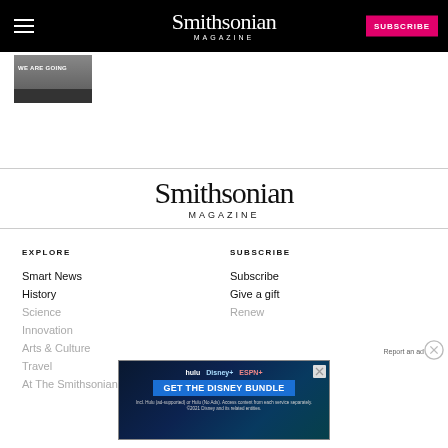Smithsonian Magazine | SUBSCRIBE
[Figure (photo): Thumbnail image with text WE ARE GOING]
[Figure (logo): Smithsonian Magazine centered logo]
EXPLORE
Smart News
History
Science
Innovation
Arts & Culture
Travel
At The Smithsonian
SUBSCRIBE
Subscribe
Give a gift
Renew
Sign Up
[Figure (infographic): Disney Bundle advertisement with hulu, Disney+, ESPN+ logos and GET THE DISNEY BUNDLE CTA. Fine print: Incl. Hulu (ad-supported) or Hulu (No Ads). Access content from each service separately. ©2021 Disney and its related entities.]
Report an ad